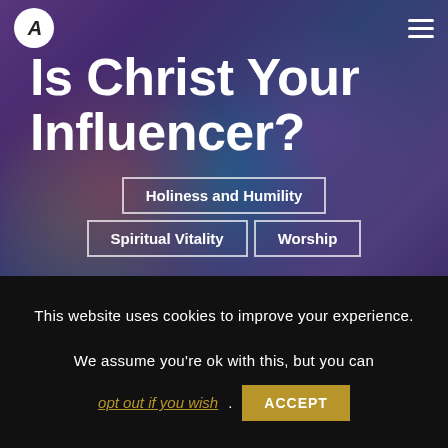[Figure (photo): Dark blurred bokeh background with phone/hands silhouette, colorful light circles (red, teal, green), purple-blue toned]
A (logo) | hamburger menu
Is Christ Your Influencer?
Holiness and Humility
Spiritual Vitality
Worship
By: Dan Steel | March 29, 2022
This website uses cookies to improve your experience.

We assume you're ok with this, but you can opt out if you wish. ACCEPT